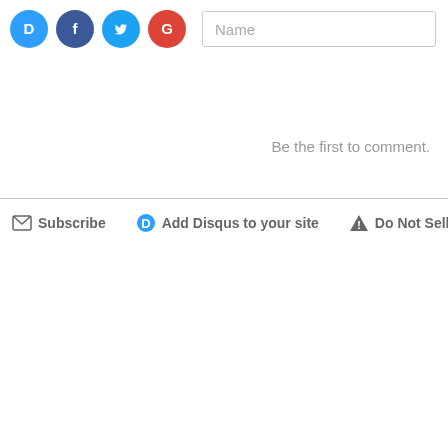[Figure (screenshot): Social login icons: Disqus (blue circle with D), Facebook (dark blue circle with f), Twitter (light blue circle with bird), Google (red circle with G)]
Name
Be the first to comment.
Subscribe
Add Disqus to your site
Do Not Sell My Data